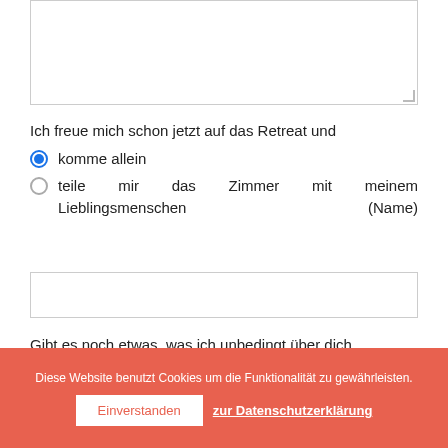[Figure (screenshot): Empty textarea input field with resize handle in bottom-right corner]
Ich freue mich schon jetzt auf das Retreat und
komme allein (radio button, selected)
teile mir das Zimmer mit meinem Lieblingsmenschen (Name) (radio button, unselected)
[Figure (screenshot): Empty single-line text input field]
Gibt es noch etwas, was ich unbedingt über dich wissen sollte?
Diese Website benutzt Cookies um die Funktionalität zu gewährleisten.
Einverstanden | zur Datenschutzerklärung